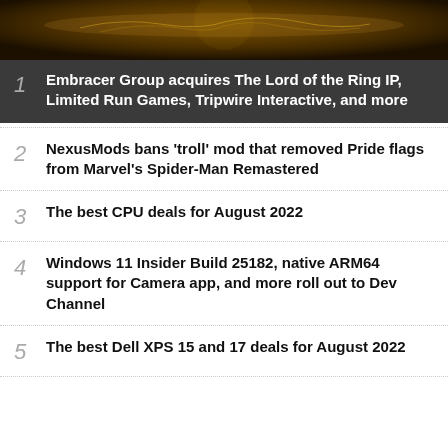[Figure (photo): Decorative hero image with dark golden/amber tones suggesting a fantasy theme related to Lord of the Rings]
Embracer Group acquires The Lord of the Ring IP, Limited Run Games, Tripwire Interactive, and more
NexusMods bans 'troll' mod that removed Pride flags from Marvel's Spider-Man Remastered
The best CPU deals for August 2022
Windows 11 Insider Build 25182, native ARM64 support for Camera app, and more roll out to Dev Channel
The best Dell XPS 15 and 17 deals for August 2022